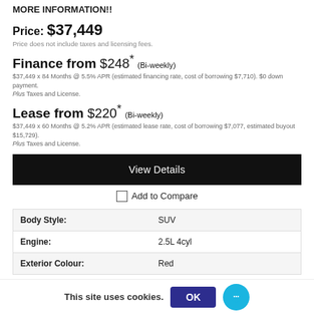MORE INFORMATION!!
Price: $37,449
Price does not include taxes and licensing fees.
Finance from $248* (Bi-weekly)
$37,449 x 84 Months @ 5.5% APR (estimated financing rate, cost of borrowing $7,710). $0 down payment. Plus Taxes and License.
Lease from $220* (Bi-weekly)
$37,449 x 60 Months @ 5.2% APR (estimated lease rate, cost of borrowing $7,077, estimated buyout $15,729). Plus Taxes and License.
View Details
Add to Compare
|  |  |
| --- | --- |
| Body Style: | SUV |
| Engine: | 2.5L 4cyl |
| Exterior Colour: | Red |
This site uses cookies. OK